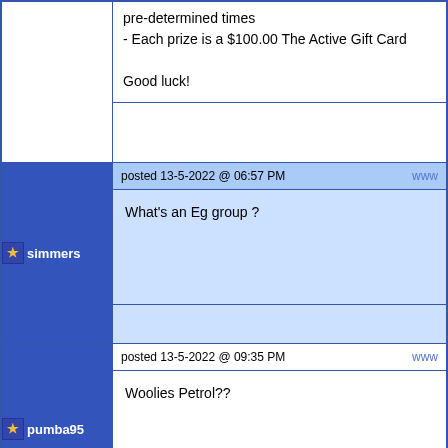pre-determined times
- Each prize is a $100.00 The Active Gift Card

Good luck!
posted 13-5-2022 @ 06:57 PM
simmers
What's an Eg group ?
posted 13-5-2022 @ 09:35 PM
pumba95
Woolies Petrol??